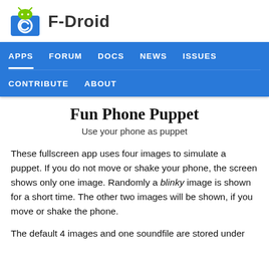F-Droid
[Figure (logo): F-Droid Android robot logo — green android head above a blue square with white copyleft symbol]
APPS  FORUM  DOCS  NEWS  ISSUES  CONTRIBUTE  ABOUT
Fun Phone Puppet
Use your phone as puppet
These fullscreen app uses four images to simulate a puppet. If you do not move or shake your phone, the screen shows only one image. Randomly a blinky image is shown for a short time. The other two images will be shown, if you move or shake the phone.
The default 4 images and one soundfile are stored under